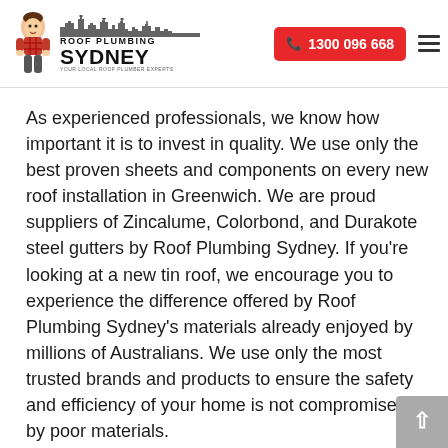[Figure (logo): Roof Plumbing Sydney logo with cartoon character of a man in red plaid and a cityscape silhouette, text reads ROOF PLUMBING SYDNEY YOUR LOCAL ROOF PLUMBER EXPERTS]
1300 096 668
As experienced professionals, we know how important it is to invest in quality. We use only the best proven sheets and components on every new roof installation in Greenwich. We are proud suppliers of Zincalume, Colorbond, and Durakote steel gutters by Roof Plumbing Sydney. If you're looking at a new tin roof, we encourage you to experience the difference offered by Roof Plumbing Sydney's materials already enjoyed by millions of Australians. We use only the most trusted brands and products to ensure the safety and efficiency of your home is not compromised by poor materials.